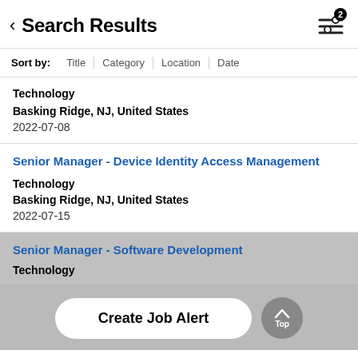Search Results
Sort by: Title | Category | Location | Date
Technology
Basking Ridge, NJ, United States
2022-07-08
Senior Manager - Device Identity Access Management
Technology
Basking Ridge, NJ, United States
2022-07-15
Senior Manager - Software Development
Technology
Create Job Alert